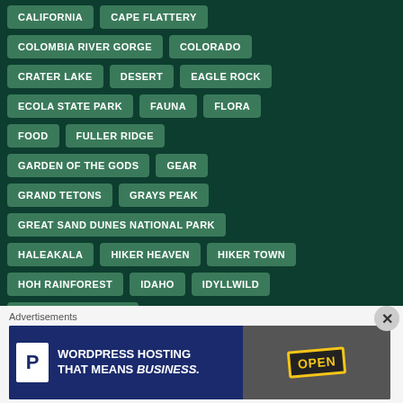CALIFORNIA
CAPE FLATTERY
COLOMBIA RIVER GORGE
COLORADO
CRATER LAKE
DESERT
EAGLE ROCK
ECOLA STATE PARK
FAUNA
FLORA
FOOD
FULLER RIDGE
GARDEN OF THE GODS
GEAR
GRAND TETONS
GRAYS PEAK
GREAT SAND DUNES NATIONAL PARK
HALEAKALA
HIKER HEAVEN
HIKER TOWN
HOH RAINFOREST
IDAHO
IDYLLWILD
KENNEDY MEADOWS
Advertisements
[Figure (screenshot): Advertisement banner for WordPress Hosting — shows a P icon on blue background with text 'WORDPRESS HOSTING THAT MEANS BUSINESS.' and an OPEN sign image on the right.]